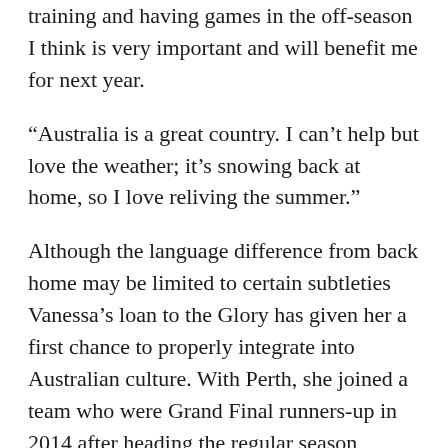training and having games in the off-season I think is very important and will benefit me for next year.
“Australia is a great country. I can’t help but love the weather; it’s snowing back at home, so I love reliving the summer.”
Although the language difference from back home may be limited to certain subtleties Vanessa’s loan to the Glory has given her a first chance to properly integrate into Australian culture. With Perth, she joined a team who were Grand Final runners-up in 2014 after heading the regular season standings, and although a Finals berth this time has proved a bridge too far the team have played their part in an enjoyably open W-League campaign.
In addition to a compatriot in on-loan Sky Blue FC